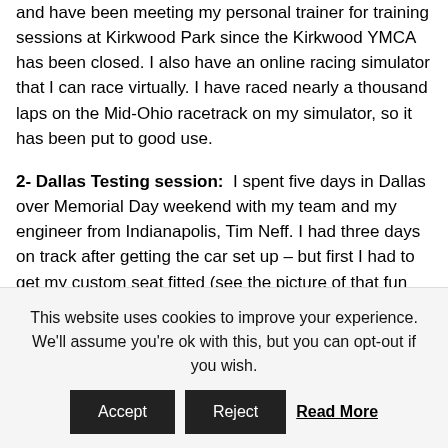and have been meeting my personal trainer for training sessions at Kirkwood Park since the Kirkwood YMCA has been closed. I also have an online racing simulator that I can race virtually. I have raced nearly a thousand laps on the Mid-Ohio racetrack on my simulator, so it has been put to good use.
2- Dallas Testing session: I spent five days in Dallas over Memorial Day weekend with my team and my engineer from Indianapolis, Tim Neff. I had three days on track after getting the car set up – but first I had to get my custom seat fitted (see the picture of that fun process!) How were the results of the test? After getting the car sorted out, we ended up being the fastest car on the track by 4/10ths of a second so all in all a
This website uses cookies to improve your experience. We'll assume you're ok with this, but you can opt-out if you wish. Accept Reject Read More